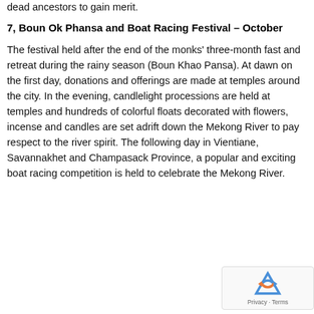dead ancestors to gain merit.
7, Boun Ok Phansa and Boat Racing Festival – October
The festival held after the end of the monks' three-month fast and retreat during the rainy season (Boun Khao Pansa). At dawn on the first day, donations and offerings are made at temples around the city. In the evening, candlelight processions are held at temples and hundreds of colorful floats decorated with flowers, incense and candles are set adrift down the Mekong River to pay respect to the river spirit. The following day in Vientiane, Savannakhet and Champasack Province, a popular and exciting boat racing competition is held to celebrate the Mekong River.
[Figure (logo): reCAPTCHA badge with Privacy and Terms links]